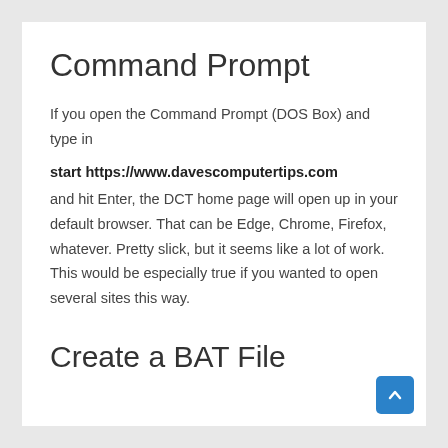Command Prompt
If you open the Command Prompt (DOS Box) and type in
start https://www.davescomputertips.com and hit Enter, the DCT home page will open up in your default browser. That can be Edge, Chrome, Firefox, whatever. Pretty slick, but it seems like a lot of work. This would be especially true if you wanted to open several sites this way.
Create a BAT File